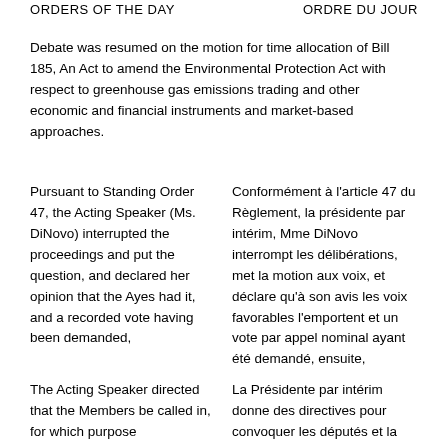ORDERS OF THE DAY   ORDRE DU JOUR
Debate was resumed on the motion for time allocation of Bill 185, An Act to amend the Environmental Protection Act with respect to greenhouse gas emissions trading and other economic and financial instruments and market-based approaches.
Pursuant to Standing Order 47, the Acting Speaker (Ms. DiNovo) interrupted the proceedings and put the question, and declared her opinion that the Ayes had it, and a recorded vote having been demanded,
Conformément à l'article 47 du Règlement, la présidente par intérim, Mme DiNovo interrompt les délibérations, met la motion aux voix, et déclare qu'à son avis les voix favorables l'emportent et un vote par appel nominal ayant été demandé, ensuite,
The Acting Speaker directed that the Members be called in, for which purpose
La Présidente par intérim donne des directives pour convoquer les députés et la sonnerie d'appel se fait